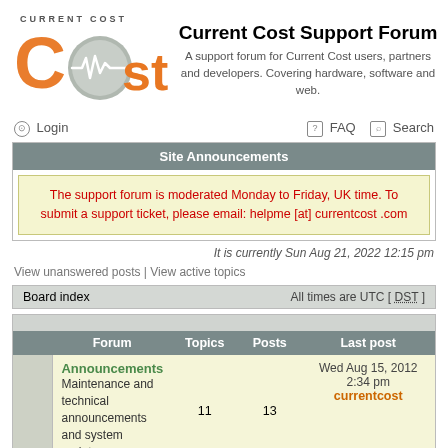[Figure (logo): Current Cost logo with orange stylized 'cost' text and circular emblem]
Current Cost Support Forum
A support forum for Current Cost users, partners and developers. Covering hardware, software and web.
Login    FAQ   Search
Site Announcements
The support forum is moderated Monday to Friday, UK time. To submit a support ticket, please email: helpme [at] currentcost .com
It is currently Sun Aug 21, 2022 12:15 pm
View unanswered posts | View active topics
Board index    All times are UTC [ DST ]
|  | Forum | Topics | Posts | Last post |
| --- | --- | --- | --- | --- |
|  | Announcements
Maintenance and technical announcements and system updates. | 11 | 13 | Wed Aug 15, 2012 2:34 pm
currentcost |